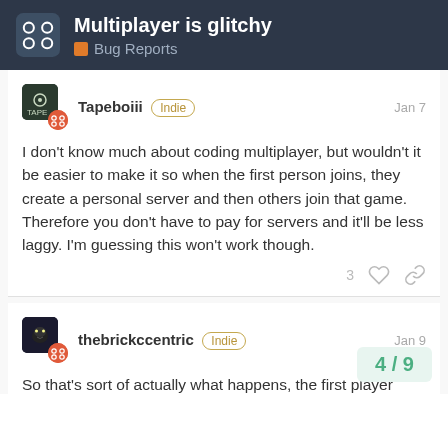Multiplayer is glitchy | Bug Reports
Tapeboiii Indie Jan 7
I don't know much about coding multiplayer, but wouldn't it be easier to make it so when the first person joins, they create a personal server and then others join that game. Therefore you don't have to pay for servers and it'll be less laggy. I'm guessing this won't work though.
thebrickccentric Indie Jan 9
So that's sort of actually what happens, the first player serves as "the host" and [manages the] game. But each player still runs [their own client off that, though it...]